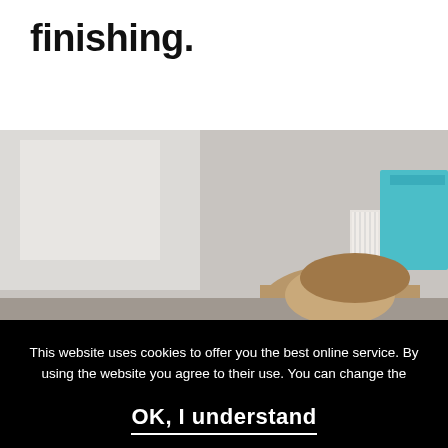finishing.
[Figure (photo): A person sitting at a desk with books and a black briefcase/box and blue storage box visible in the background, photographed from behind/side angle.]
This website uses cookies to offer you the best online service. By using the website you agree to their use. You can change the settings for cookies in your web browser at any time. You can find more information on this subject in ours privacy policy.
OK, I understand